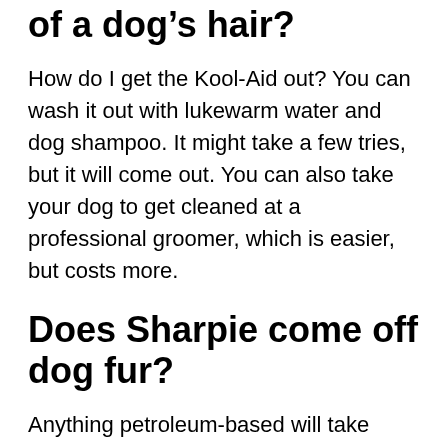of a dog's hair?
How do I get the Kool-Aid out? You can wash it out with lukewarm water and dog shampoo. It might take a few tries, but it will come out. You can also take your dog to get cleaned at a professional groomer, which is easier, but costs more.
Does Sharpie come off dog fur?
Anything petroleum-based will take sharpie off skin. I have also used rubbing alcohol. I know about sharpie because my kids swim and use sharpies to write on themselves every swim meet.